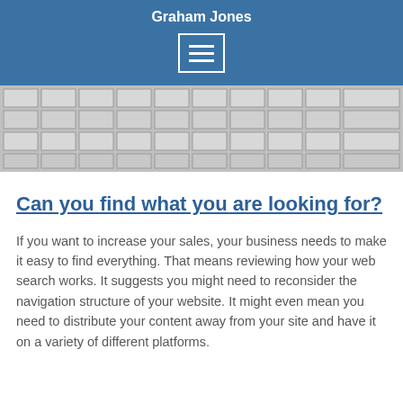Graham Jones
[Figure (screenshot): Navigation menu icon (hamburger) in a white-bordered box on blue background]
[Figure (photo): Top-down view of a grey maze or labyrinth structure]
Can you find what you are looking for?
If you want to increase your sales, your business needs to make it easy to find everything. That means reviewing how your web search works. It suggests you might need to reconsider the navigation structure of your website. It might even mean you need to distribute your content away from your site and have it on a variety of different platforms.